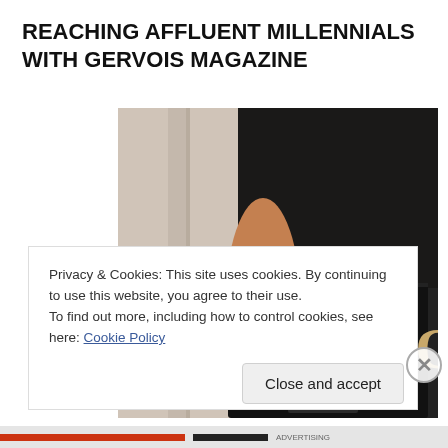REACHING AFFLUENT MILLENNIALS WITH GERVOIS MAGAZINE
[Figure (photo): Person holding a Gervois magazine, showing bare arm against a light background, with the magazine cover partially visible showing 'GERVO' text in gold lettering on dark background with glowing lights]
Privacy & Cookies: This site uses cookies. By continuing to use this website, you agree to their use.
To find out more, including how to control cookies, see here: Cookie Policy